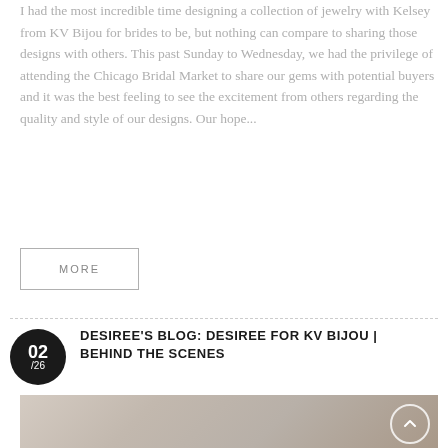I had the most incredible time designing a collection of jewelry with Kelsey from KV Bijou for brides to be, but nothing can compare to sharing those designs with others. This past Sunday to Wednesday, we had the privilege of attending the Chicago Bridal Market to share our gems with potential buyers and it was the best feeling to see the excitement from others regarding the quality and style of our designs. Our hope...
MORE
DESIREE'S BLOG: DESIREE FOR KV BIJOU | BEHIND THE SCENES
[Figure (photo): Three women posing together, partially visible at bottom of page]